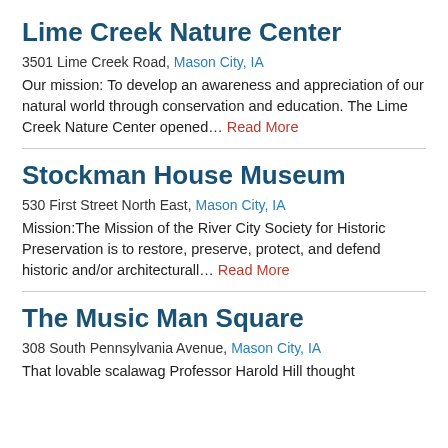Lime Creek Nature Center
3501 Lime Creek Road, Mason City, IA
Our mission: To develop an awareness and appreciation of our natural world through conservation and education. The Lime Creek Nature Center opened… Read More
Stockman House Museum
530 First Street North East, Mason City, IA
Mission:The Mission of the River City Society for Historic Preservation is to restore, preserve, protect, and defend historic and/or architecturall… Read More
The Music Man Square
308 South Pennsylvania Avenue, Mason City, IA
That lovable scalawag Professor Harold Hill thought...